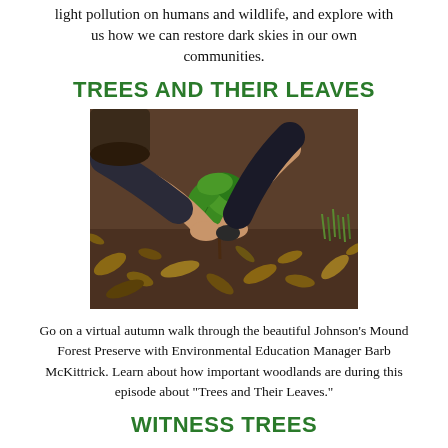light pollution on humans and wildlife, and explore with us how we can restore dark skies in our own communities.
TREES AND THEIR LEAVES
[Figure (photo): Person crouching down planting or tending to a small green sapling with leaves on a forest floor covered with soil, dried leaves, and organic debris.]
Go on a virtual autumn walk through the beautiful Johnson's Mound Forest Preserve with Environmental Education Manager Barb McKittrick. Learn about how important woodlands are during this episode about "Trees and Their Leaves."
WITNESS TREES